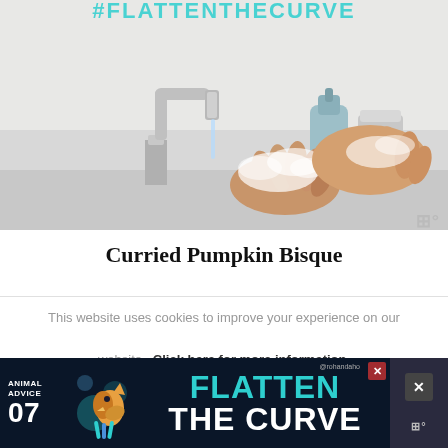[Figure (photo): Partial hashtag #FlattenTheCurve text visible at top, below which is a photo of a person washing their hands with soap and water at a white sink with a chrome tap and a soap dispenser, with a Stipple/Whisk watermark logo in the lower right]
Curried Pumpkin Bisque
This website uses cookies to improve your experience on our website. Click here for more information.
[Figure (infographic): Ad banner at bottom: Animal Advice 07 with illustrated animal, text FLATTEN THE CURVE in teal and white, @rohandaho handle, close buttons on right side, Whisk logo]